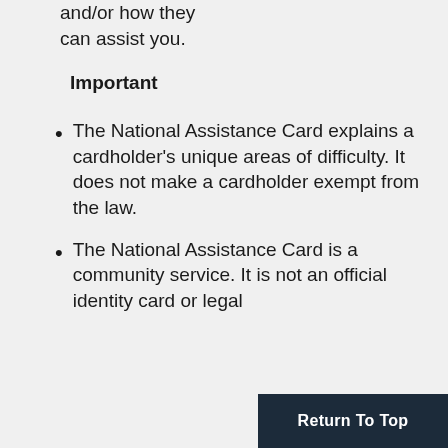and/or how they can assist you.
Important
The National Assistance Card explains a cardholder's unique areas of difficulty. It does not make a cardholder exempt from the law.
The National Assistance Card is a community service. It is not an official identity card or legal
Return To Top